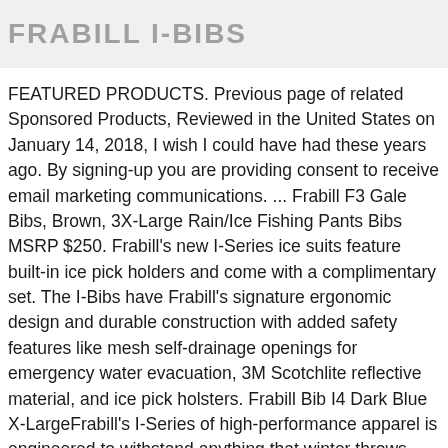FRABILL I-BIBS
FEATURED PRODUCTS. Previous page of related Sponsored Products, Reviewed in the United States on January 14, 2018, I wish I could have had these years ago. By signing-up you are providing consent to receive email marketing communications. ... Frabill F3 Gale Bibs, Brown, 3X-Large Rain/Ice Fishing Pants Bibs MSRP $250. Frabill's new I-Series ice suits feature built-in ice pick holders and come with a complimentary set. The I-Bibs have Frabill's signature ergonomic design and durable construction with added safety features like mesh self-drainage openings for emergency water evacuation, 3M Scotchlite reflective material, and ice pick holsters. Frabill Bib I4 Dark Blue X-LargeFrabill's I-Series of high-performance apparel is engineered to withstand anything that winter throws your way. ... I-3 Bib  $199.99. One winner is chosen monthly. There